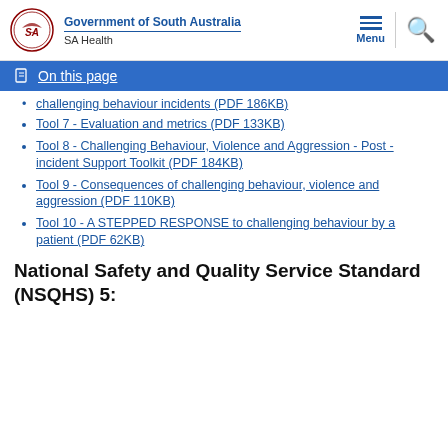Government of South Australia | SA Health
On this page
challenging behaviour incidents (PDF 186KB)
Tool 7 - Evaluation and metrics (PDF 133KB)
Tool 8 - Challenging Behaviour, Violence and Aggression - Post -incident Support Toolkit (PDF 184KB)
Tool 9 - Consequences of challenging behaviour, violence and aggression (PDF 110KB)
Tool 10 - A STEPPED RESPONSE to challenging behaviour by a patient (PDF 62KB)
National Safety and Quality Service Standard (NSQHS) 5: